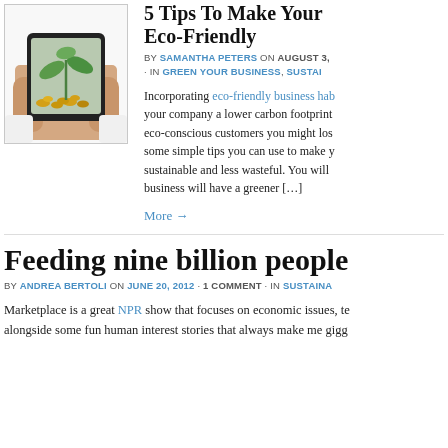[Figure (photo): Hands holding a tablet displaying a plant growing from coins — eco-friendly business concept image]
5 Tips To Make Your Business Eco-Friendly
by SAMANTHA PETERS on AUGUST 3, · in GREEN YOUR BUSINESS, SUSTAIN
Incorporating eco-friendly business hab your company a lower carbon footprint eco-conscious customers you might los some simple tips you can use to make y sustainable and less wasteful. You will business will have a greener […]
More →
Feeding nine billion people
by ANDREA BERTOLI on JUNE 20, 2012 · 1 COMMENT · in SUSTAINA
Marketplace is a great NPR show that focuses on economic issues, te alongside some fun human interest stories that always make me gigg